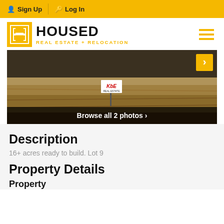Sign Up | Log In
[Figure (logo): HOUSED Real Estate + Relocation logo with golden H icon]
[Figure (photo): Vacant land/lot photo showing dirt ground with a KBE real estate sign stake in the middle, sepia-toned. Browse all 2 photos overlay at bottom. Next arrow button top right.]
Description
16+ acres ready to build. Lot 9
Property Details
Property